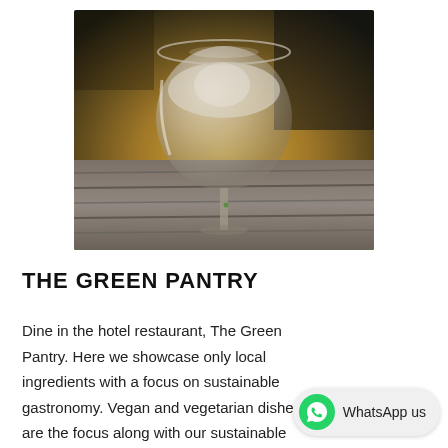[Figure (photo): Close-up photograph of a wine glass filled with white wine or water, placed on wooden planks, with a warm golden bokeh background at sunset.]
THE GREEN PANTRY
Dine in the hotel restaurant, The Green Pantry. Here we showcase only local ingredients with a focus on sustainable gastronomy. Vegan and vegetarian dishes are the focus along with our sustainable
[Figure (logo): WhatsApp us button with WhatsApp green phone icon on a light grey pill-shaped button.]